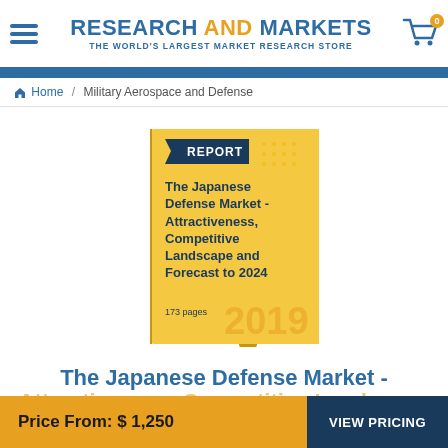RESEARCH AND MARKETS - THE WORLD'S LARGEST MARKET RESEARCH STORE
Home / Military Aerospace and Defense
[Figure (illustration): Book cover image for 'The Japanese Defense Market - Attractiveness, Competitive Landscape and Forecast to 2024', 173 pages, 2019, yellow cover with dark blue REPORT label]
The Japanese Defense Market - Attractiveness, Competitive Landscape and
Price From: $ 1,250  VIEW PRICING